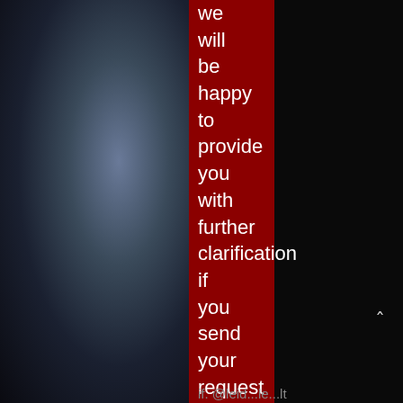[Figure (photo): Background image: dark dramatic scene with bluish-grey tones on left half, deep black on right, with a vertical dark red/maroon bar in the center-right area containing white text reading: 'we will be happy to provide you with further clarification if you send your request for further information to:' followed by partial text cut off at bottom.]
we will be happy to provide you with further clarification if you send your request for further information to: